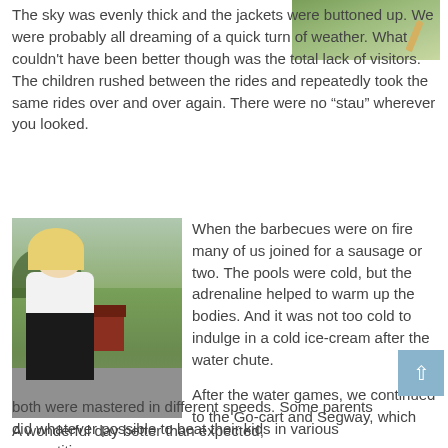[Figure (photo): Outdoor grassy area with what appears to be a stick or object on green grass, top-right corner of page]
The sky was evenly thick and the jackets were buttoned up. We were probably all dreaming of a quick turn of weather. What couldn't have been better though was the total lack of visitors. The children rushed between the rides and repeatedly took the same rides over and over again. There were no “stau” wherever you looked.
[Figure (photo): A young blonde girl making a peace sign at an outdoor amusement or recreation park area, with a red shed and trees in the background]
When the barbecues were on fire many of us joined for a sausage or two. The pools were cold, but the adrenaline helped to warm up the bodies. And it was not too cold to indulge in a cold ice-cream after the water chute.

After the water games, we continued to the Go-cart and Segway, which both were mastered in different speeds. Some parents did whatever possible to beat their kids in various competitions.
A wonderful day better than expected,